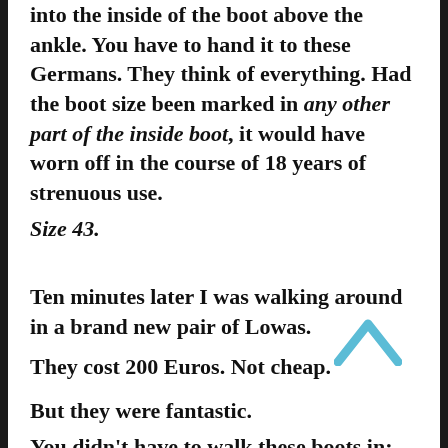into the inside of the boot above the ankle. You have to hand it to these Germans. They think of everything. Had the boot size been marked in any other part of the inside boot, it would have worn off in the course of 18 years of strenuous use.
Size 43.
Ten minutes later I was walking around in a brand new pair of Lowas.
They cost 200 Euros. Not cheap.
But they were fantastic.
You didn't have to walk these boots in; they